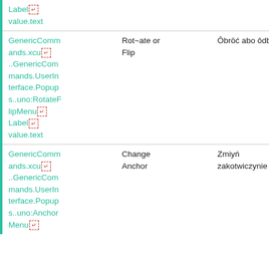| Key/Path | Source Text | Translation | Actions |
| --- | --- | --- | --- |
| Label↵
value.text |  |  |  |
| GenericCommands.xcu↵..GenericCommands.UserInterface.Popups..uno:RotateFlipMenu↵Label↵
value.text | Rot~ate or Flip | Ôbrōć abo ôdbij | copy icons |
| GenericCommands.xcu↵..GenericCommands.UserInterface.Popups..uno:AnchorMenu↵ | Change Anchor | Zmiyń zakotwiczynie | copy icons |